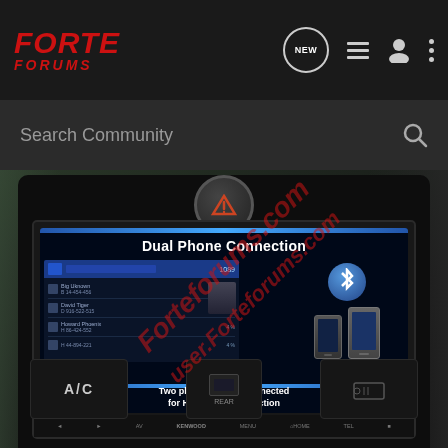FORTE FORUMS
Search Community
[Figure (photo): Car interior photo showing a Kenwood double-DIN head unit displaying 'Dual Phone Connection' screen with Bluetooth and two phones illustration, with the text 'Two phones can be connected for Hands-free connection'. Vehicle dashboard with A/C controls, rear control, and hazard button visible. Watermark reads 'user.Forteforums.com' diagonally in red.]